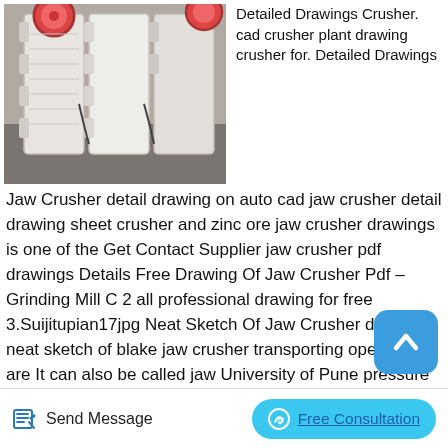[Figure (photo): White jaw crusher machine photographed in an industrial setting, showing the large ribbed metal frame structure]
Detailed Drawings Crusher. cad crusher plant drawing crusher for. Detailed Drawings Jaw Crusher detail drawing on auto cad jaw crusher detail drawing sheet crusher and zinc ore jaw crusher drawings is one of the Get Contact Supplier jaw crusher pdf drawings Details Free Drawing Of Jaw Crusher Pdf – Grinding Mill C 2 all professional drawing for free 3.Suijitupian17jpg Neat Sketch Of Jaw Crusher draw a neat sketch of blake jaw crusher transporting operation are It can also be called jaw University of Pune pressure air compressor working. . Neat Sketch Of Jaw Crusher Shanghai
[Figure (illustration): Scroll-to-top button (blue rounded square with upward chevron arrow)]
[Figure (illustration): Send Message button with pencil/edit icon]
Free Consultation